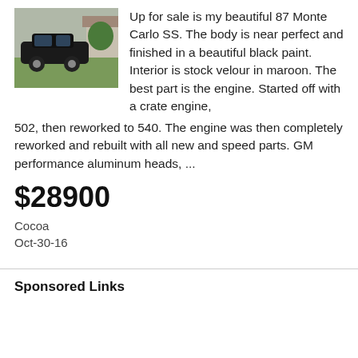[Figure (photo): Photo of a black 1987 Monte Carlo SS parked on grass near a house]
Up for sale is my beautiful 87 Monte Carlo SS. The body is near perfect and finished in a beautiful black paint. Interior is stock velour in maroon. The best part is the engine. Started off with a crate engine, 502, then reworked to 540. The engine was then completely reworked and rebuilt with all new and speed parts. GM performance aluminum heads, ...
$28900
Cocoa
Oct-30-16
Sponsored Links
1 2 3 4 5 6 7 8 9 10